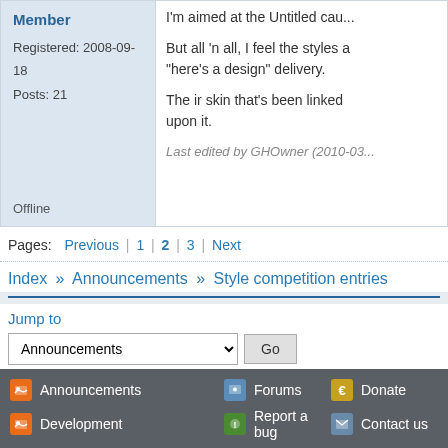Member
Registered: 2008-09-18
Posts: 21
Offline
I'm aimed at the Untitled cau...

But all 'n all, I feel the styles a... "here's a design" delivery.

The ir skin that's been linked ... upon it.

Last edited by GHOwner (2010-03...
Pages: Previous 1 2 3 Next
Index » Announcements » Style competition entries
Jump to
Announcements  Go
Announcements  Forums  Donate  F...
Development  Report a bug  Contact us  N...